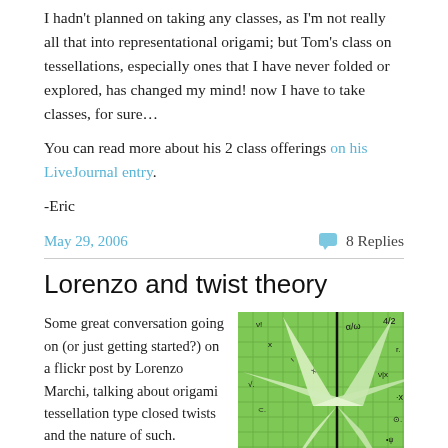I hadn't planned on taking any classes, as I'm not really all that into representational origami; but Tom's class on tessellations, especially ones that I have never folded or explored, has changed my mind! now I have to take classes, for sure…
You can read more about his 2 class offerings on his LiveJournal entry.
-Eric
May 29, 2006    8 Replies
Lorenzo and twist theory
Some great conversation going on (or just getting started?) on a flickr post by Lorenzo Marchi, talking about origami tessellation type closed twists and the nature of such.
there's a whole big
[Figure (photo): Green origami tessellation on graph paper with mathematical notation written in black marker. The paper shows a star-like folded pattern with X shapes and mathematical symbols scattered around it.]